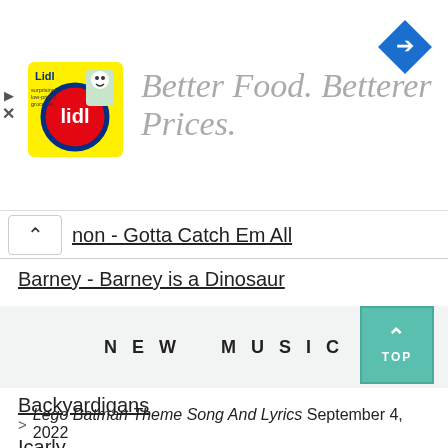[Figure (illustration): Advertisement banner with Lidl logo and text 'Better Food. Betterer Prices.' and a blue navigation arrow icon on the right]
non - Gotta Catch Em All
Barney - Barney is a Dinosaur
Little Einsteins
Dawson's Creek – I Don't Want To Wait
Backyardigans
Icarly
NEW MUSIC
> Lego Batman Theme Song And Lyrics September 4, 2022